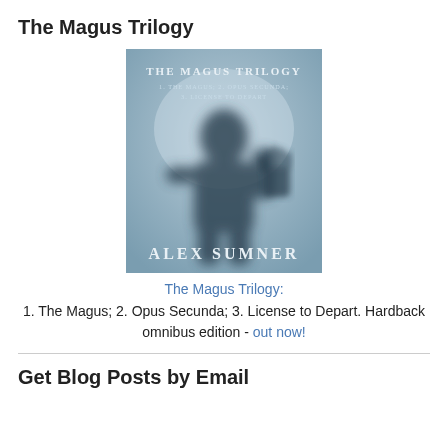The Magus Trilogy
[Figure (illustration): Book cover for The Magus Trilogy by Alex Sumner. A shadowy silhouette of a person with hand raised against a frosted glass-like blue-grey background. Text reads: THE MAGUS TRILOGY / 1. THE MAGUS; 2. OPUS SECUNDA; 3. LICENSE TO DEPART / ALEX SUMNER]
The Magus Trilogy:
1. The Magus; 2. Opus Secunda; 3. License to Depart. Hardback omnibus edition - out now!
Get Blog Posts by Email